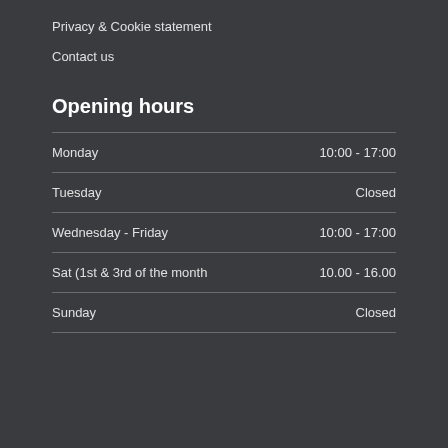Privacy & Cookie statement
Contact us
Opening hours
| Day | Hours |
| --- | --- |
| Monday | 10:00 - 17:00 |
| Tuesday | Closed |
| Wednesday - Friday | 10:00 - 17:00 |
| Sat (1st & 3rd of the month | 10.00 - 16.00 |
| Sunday | Closed |